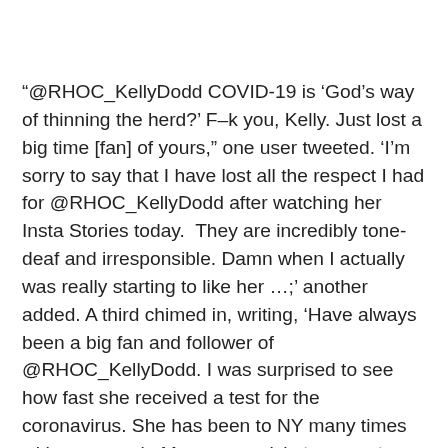“@RHOC_KellyDodd COVID-19 is ‘God’s way of thinning the herd?’ F–k you, Kelly. Just lost a big time [fan] of yours,” one user tweeted. ‘I’m sorry to say that I have lost all the respect I had for @RHOC_KellyDodd after watching her Insta Stories today.  They are incredibly tone-deaf and irresponsible. Damn when I actually was really starting to like her …;’ another added. A third chimed in, writing, ‘Have always been a big fan and follower of @RHOC_KellyDodd. I was surprised to see how fast she received a test for the coronavirus. She has been to NY many times without a mask. My son got sick, has good insurance, but was told not sick enough for testing. Not fair.’”